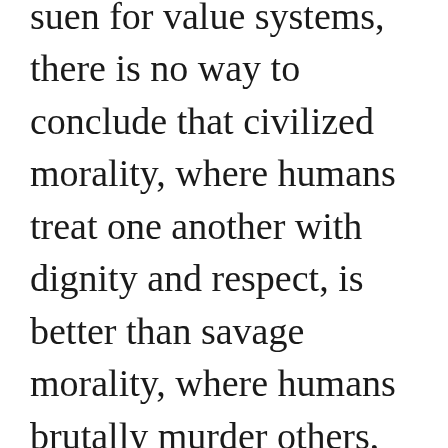suen for value systems, there is no way to conclude that civilized morality, where humans treat one another with dignity and respect, is better than savage morality, where humans brutally murder others, even within their own tribe at times, for various reasons.